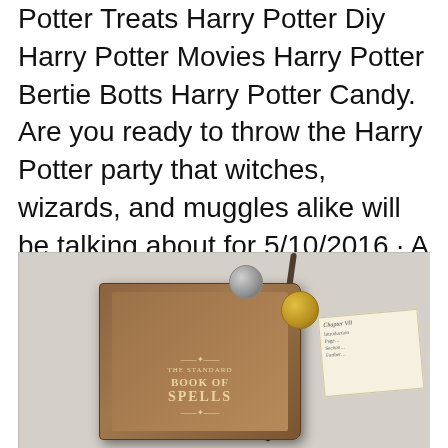Potter Treats Harry Potter Diy Harry Potter Movies Harry Potter Bertie Botts Harry Potter Candy. Are you ready to throw the Harry Potter party that witches, wizards, and muggles alike will be talking about for 5/10/2016 · A handy book of spells that covers relatively easy spells for first and second years. Several copies can always be found in Hogwarts Library..
[Figure (photo): Photo of 'The Standard Book of Spells' prop book lying on a grey surface alongside a wand, coins, and a paper slip with text.]